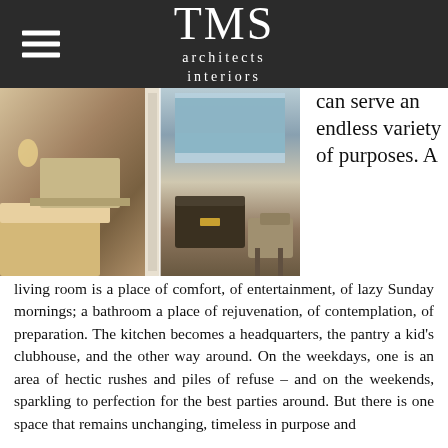TMS architects interiors
[Figure (photo): Interior bedroom and sitting area with French doors opening to a water view, ornate furniture and a decorative trunk]
can serve an endless variety of purposes. A living room is a place of comfort, of entertainment, of lazy Sunday mornings; a bathroom a place of rejuvenation, of contemplation, of preparation. The kitchen becomes a headquarters, the pantry a kid's clubhouse, and the other way around. On the weekdays, one is an area of hectic rushes and piles of refuse – and on the weekends, sparkling to perfection for the best parties around. But there is one space that remains unchanging, timeless in purpose and